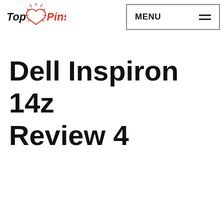Top Pins | MENU
Dell Inspiron 14z Review 4